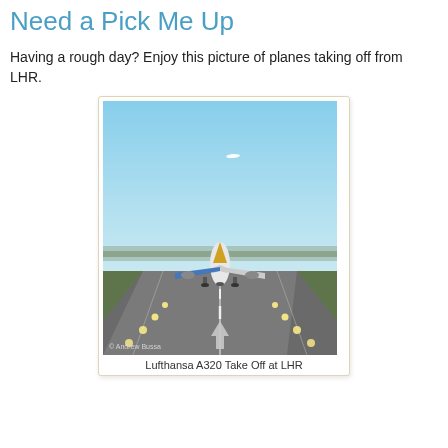Need a Pick Me Up
Having a rough day? Enjoy this picture of planes taking off from LHR.
[Figure (photo): Photograph of a Lufthansa A320 aircraft on a runway at London Heathrow Airport (LHR), viewed from behind. The plane is on the tarmac with runway markings and lights visible. A second plane is visible in the sky above. The photo is credited to Andrew Bussa.]
Lufthansa A320 Take Off at LHR